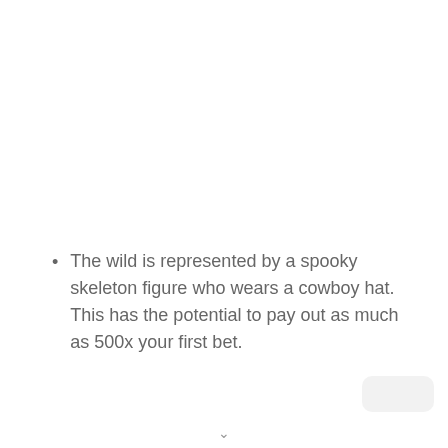The wild is represented by a spooky skeleton figure who wears a cowboy hat. This has the potential to pay out as much as 500x your first bet.